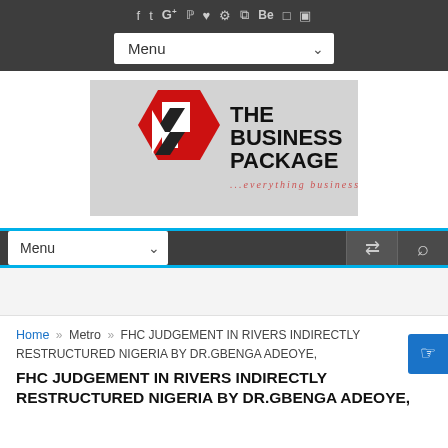Social icons: f, Twitter, G+, Pinterest, Heart, Settings, RSS, Be, Instagram, Dribbble
Menu ▾ (navigation dropdown)
[Figure (logo): The Business Package logo — red hexagon with black L-shape chevron, bold text 'THE BUSINESS PACKAGE', italic tagline '...everything business']
Menu ▾  (second navigation bar with shuffle and search icons)
(advertisement/blank area)
Home » Metro » FHC JUDGEMENT IN RIVERS INDIRECTLY RESTRUCTURED NIGERIA BY DR.GBENGA ADEOYE,